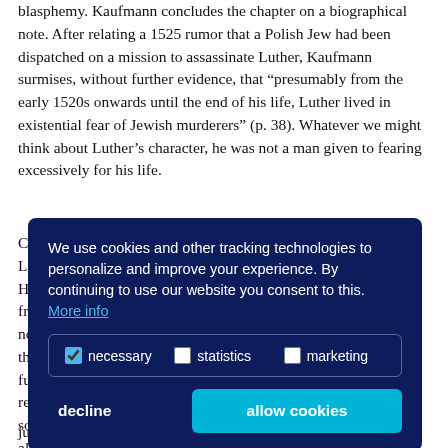blasphemy. Kaufmann concludes the chapter on a biographical note. After relating a 1525 rumor that a Polish Jew had been dispatched on a mission to assassinate Luther, Kaufmann surmises, without further evidence, that “presuming from the early 1520s onwards until the end of his life, Luther lived in existential fear of Jewish murderers” (p. 38). Whatever we might think about Luther’s character, he was not a man given to fearing excessively for his life.
Ch... Lu... He... fr... no... th... fu... re... so... al... Ch... justification by faith alone. The inability or refusal to
[Figure (other): Cookie consent overlay with dark navy background. Contains text: 'We use cookies and other tracking technologies to personalize and improve your experience. By continuing to use our website you consent to this. More info'. Checkboxes for 'necessary' (checked), 'statistics' (unchecked), 'marketing' (unchecked). Two buttons: 'decline' (text only) and 'allow cookies' (cyan button).]